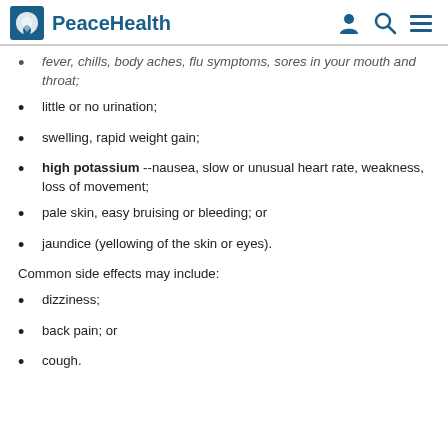PeaceHealth
fever, chills, body aches, flu symptoms, sores in your mouth and throat;
little or no urination;
swelling, rapid weight gain;
high potassium --nausea, slow or unusual heart rate, weakness, loss of movement;
pale skin, easy bruising or bleeding; or
jaundice (yellowing of the skin or eyes).
Common side effects may include:
dizziness;
back pain; or
cough.